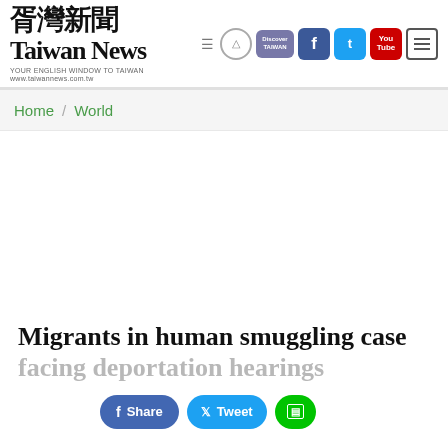Taiwan News
Home / World
Migrants in human smuggling case facing deportation hearings
Share  Tweet  [Line share]